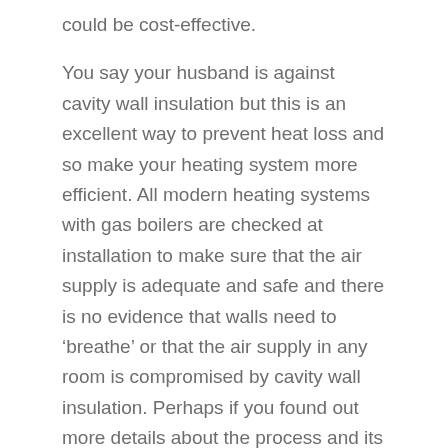could be cost-effective.
You say your husband is against cavity wall insulation but this is an excellent way to prevent heat loss and so make your heating system more efficient. All modern heating systems with gas boilers are checked at installation to make sure that the air supply is adequate and safe and there is no evidence that walls need to ‘breathe’ or that the air supply in any room is compromised by cavity wall insulation. Perhaps if you found out more details about the process and its costs and advantages your husband might change his opinion. It would also be wise to look at loft insulation, double glazing and other methods of reducing heat loss.